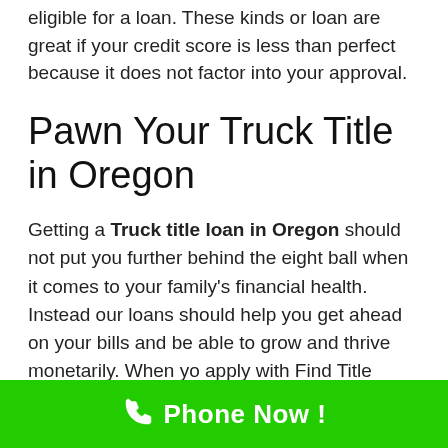eligible for a loan. These kinds or loan are great if your credit score is less than perfect because it does not factor into your approval.
Pawn Your Truck Title in Oregon
Getting a Truck title loan in Oregon should not put you further behind the eight ball when it comes to your family's financial health. Instead our loans should help you get ahead on your bills and be able to grow and thrive monetarily. When yo apply with Find Title Loans for Truck title loans we know that
Phone Now !